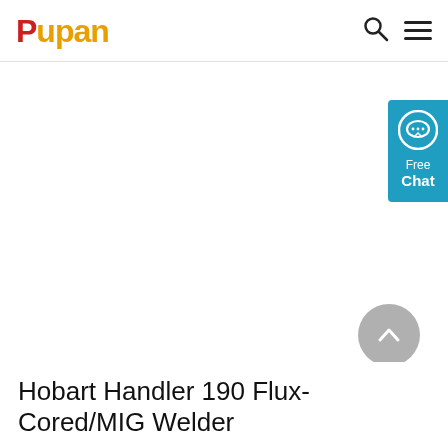Pupan
[Figure (other): Free Chat widget button in blue with speech bubble icon, showing 'Free Chat' text]
[Figure (other): Gray circular scroll-to-top button with upward chevron arrow]
Hobart Handler 190 Flux-Cored/MIG Welder